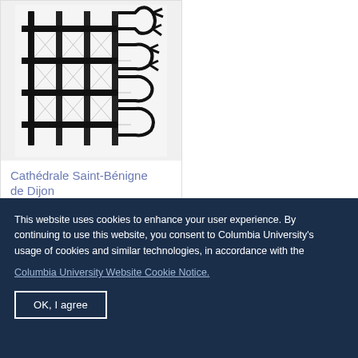[Figure (engineering-diagram): Architectural floorplan drawing of the gothic chevet of Cathédrale Saint-Bénigne de Dijon, showing a grid of columns connected by diagonal lines with apsidal chapels on the right side rendered in black ink on white background.]
Cathédrale Saint-Bénigne de Dijon
Floorplan, gothic chevet
This website uses cookies to enhance your user experience. By continuing to use this website, you consent to Columbia University's usage of cookies and similar technologies, in accordance with the
Columbia University Website Cookie Notice.
OK, I agree